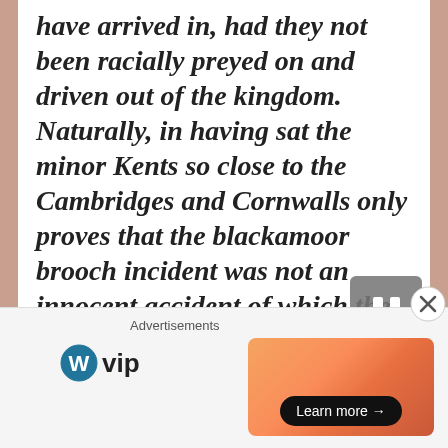have arrived in, had they not been racially preyed on and driven out of the kingdom. Naturally, in having sat the minor Kents so close to the Cambridges and Cornwalls only proves that the blackamoor brooch incident was not an innocent accident of which the minor royal claimed ignorance.
[Figure (screenshot): Pause button (grey rounded square with two white vertical bars) floating over content]
[Figure (photo): Partial black and white photograph visible at bottom of main content area]
Advertisements  WordPress VIP  Learn more →